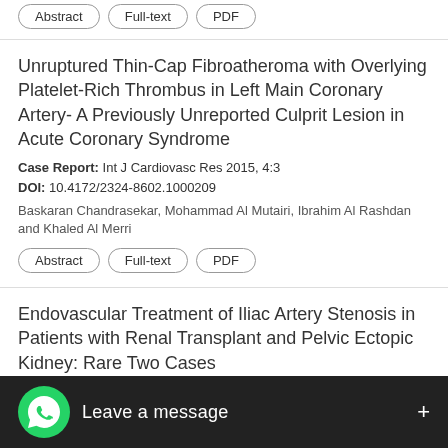Abstract | Full-text | PDF
Unruptured Thin-Cap Fibroatheroma with Overlying Platelet-Rich Thrombus in Left Main Coronary Artery- A Previously Unreported Culprit Lesion in Acute Coronary Syndrome
Case Report: Int J Cardiovasc Res 2015, 4:3
DOI: 10.4172/2324-8602.1000209
Baskaran Chandrasekar, Mohammad Al Mutairi, Ibrahim Al Rashdan and Khaled Al Merri
Abstract | Full-text | PDF
Endovascular Treatment of Iliac Artery Stenosis in Patients with Renal Transplant and Pelvic Ectopic Kidney: Rare Two Cases
Case Report: Int J Cardiovasc Res 2015, 4:3
DOI: 10.4172/2324-8602.1000210
Guksal Arslan, Nermin Bayar, Guksal ... and Gorkem Kus
Abstract